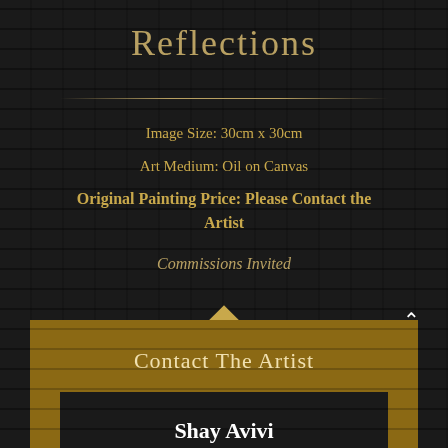Reflections
Image Size: 30cm x 30cm
Art Medium: Oil on Canvas
Original Painting Price: Please Contact the Artist
Commissions Invited
Contact The Artist
Shay Avivi